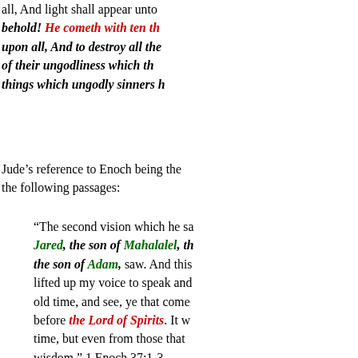all, And light shall appear unto behold! He cometh with ten th upon all, And to destroy all the of their ungodliness which th things which ungodly sinners h
Jude's reference to Enoch being the the following passages:
"The second vision which he sa Jared, the son of Mahalalel, th the son of Adam, saw. And this lifted up my voice to speak and old time, and see, ye that come before the Lord of Spirits. It w time, but even from those that wisdom." 1 Enoch 37:1-3
And:
"In the year 500, in the seventh of Enoch. In that Parable I saw to quake, and the host of the M and ten thousand times ten tho the Head of Days sat on the thr stood around Him. And a great